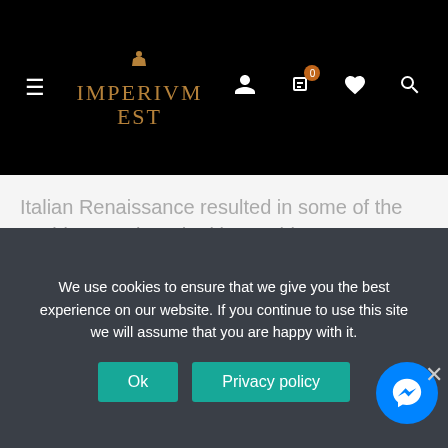IMPERIVM EST
Italian Renaissance resulted in some of the world's most breathtaking architecture. Florence is chief among...
[Figure (other): Social media share buttons: Facebook, Twitter, LinkedIn, Pinterest]
We use cookies to ensure that we give you the best experience on our website. If you continue to use this site we will assume that you are happy with it.
Ok    Privacy policy